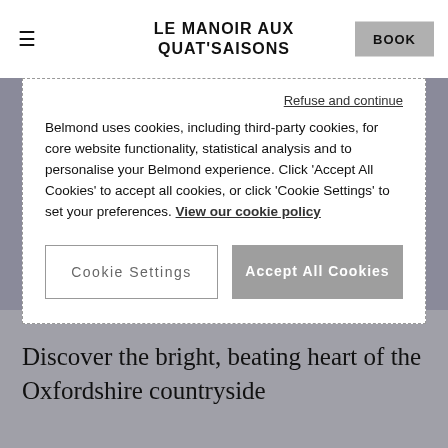LE MANOIR AUX QUAT'SAISONS | BOOK
Refuse and continue
Belmond uses cookies, including third-party cookies, for core website functionality, statistical analysis and to personalise your Belmond experience. Click 'Accept All Cookies' to accept all cookies, or click 'Cookie Settings' to set your preferences. View our cookie policy
Cookie Settings | Accept All Cookies
1 of 5
Discover the bright, beating heart of the Oxfordshire countryside